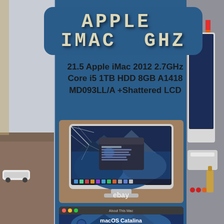APPLE IMAC GHZ
21.5 Apple iMac 2012 2.7GHz Core i5 1TB HDD 8GB A1418 MD093LL/A +Shattered LCD
[Figure (photo): Photo of a 21.5-inch Apple iMac with shattered/cracked LCD screen, showing macOS Catalina desktop with About This Mac dialog open, with eBay watermark]
[Figure (photo): Close-up photo of macOS Catalina About This Mac information window showing system specs]